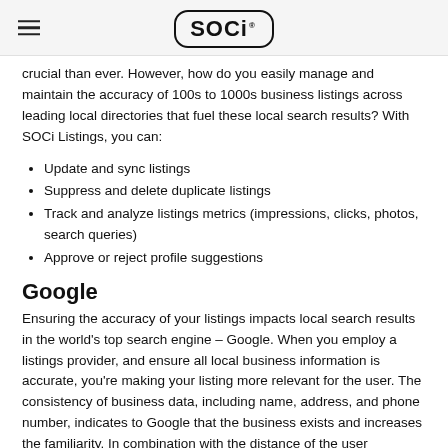SOCi
crucial than ever. However, how do you easily manage and maintain the accuracy of 100s to 1000s business listings across leading local directories that fuel these local search results? With SOCi Listings, you can:
Update and sync listings
Suppress and delete duplicate listings
Track and analyze listings metrics (impressions, clicks, photos, search queries)
Approve or reject profile suggestions
Google
Ensuring the accuracy of your listings impacts local search results in the world’s top search engine – Google. When you employ a listings provider, and ensure all local business information is accurate, you’re making your listing more relevant for the user. The consistency of business data, including name, address, and phone number, indicates to Google that the business exists and increases the familiarity. In combination with the distance of the user